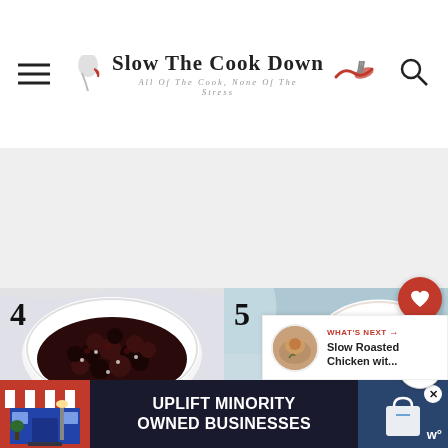Slow The Cook Down — ALL OF THE COOK, NONE OF THE STRESS
[Figure (photo): Photo numbered 4: a white bowl filled with dark cherries and blackberries on a white cloth background]
[Figure (photo): Photo numbered 5: a round dish with crumble/oat topping on a blue/marble background]
[Figure (infographic): Sidebar with red heart button showing 222 count, and share button]
[Figure (infographic): What's Next panel with thumbnail — Slow Roasted Chicken wit...]
[Figure (infographic): Ad banner: UPLIFT MINORITY OWNED BUSINESSES with storefront illustration and close button]